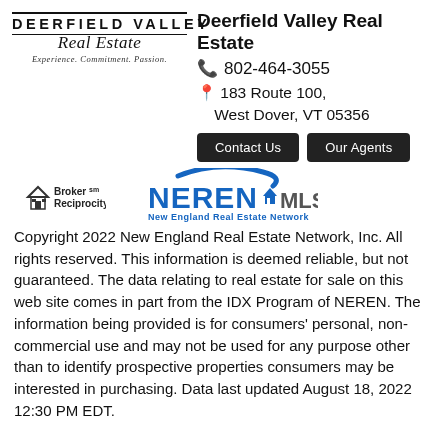[Figure (logo): Deerfield Valley Real Estate logo with serif text, script font and tagline 'Experience. Commitment. Passion.']
Deerfield Valley Real Estate
📞 802-464-3055
📍 183 Route 100, West Dover, VT 05356
Contact Us   Our Agents
[Figure (logo): Broker Reciprocity logo (small house icon with text) and NEREN MLS logo with New England Real Estate Network subtitle]
Copyright 2022 New England Real Estate Network, Inc. All rights reserved. This information is deemed reliable, but not guaranteed. The data relating to real estate for sale on this web site comes in part from the IDX Program of NEREN. The information being provided is for consumers' personal, non-commercial use and may not be used for any purpose other than to identify prospective properties consumers may be interested in purchasing. Data last updated August 18, 2022 12:30 PM EDT.